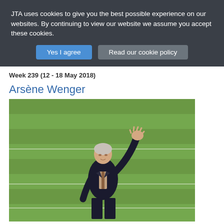JTA uses cookies to give you the best possible experience on our websites. By continuing to view our website we assume you accept these cookies.
Yes I agree | Read our cookie policy
Week 239 (12 - 18 May 2018)
Arsène Wenger
[Figure (photo): A man (Arsène Wenger) in a dark suit waving his right hand on a green football pitch]